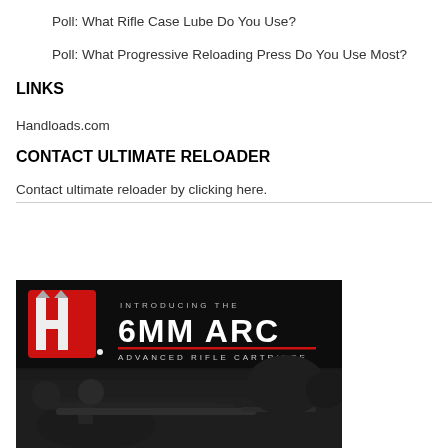Poll: What Rifle Case Lube Do You Use?
Poll: What Progressive Reloading Press Do You Use Most?
LINKS
Handloads.com
CONTACT ULTIMATE RELOADER
Contact ultimate reloader by clicking here.
[Figure (photo): Hornady advertisement for the 6MM ARC (Advanced Rifle Cartridge). Black background with Hornady 'H' logo in red and silver on the left, large white bold text '6MM ARC', red horizontal line, smaller text 'ADVANCED RIFLE CARTRIDGE', and a black-and-white photo of a shooter prone with a rifle at the bottom.]